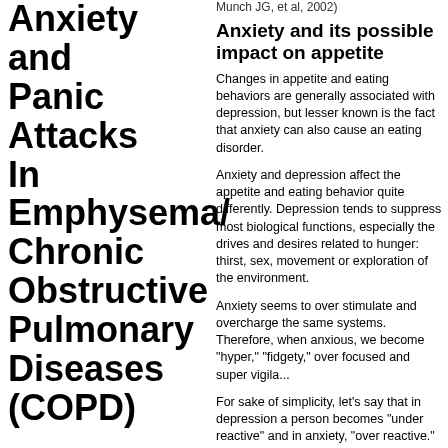Anxiety and Panic Attacks In Emphysema/ Chronic Obstructive Pulmonary Diseases (COPD)
Munch JG, et al, 2002)
Anxiety and its possible impact on appetite
Changes in appetite and eating behaviors are generally associated with depression, but lesser known is the fact that anxiety can also cause an eating disorder.
Anxiety and depression affect the appetite and eating behavior quite differently. Depression tends to suppress most biological functions, especially the drives and desires related to hunger: thirst, sex, movement or exploration of the environment.
Anxiety seems to over stimulate and overcharge the same systems. Therefore, when anxious, we become "hyper," "fidgety," over focused and super vigila...
For sake of simplicity, let's say that in depression a person becomes "under reactive" and in anxiety, "over reactive." Pursuing this line of thinking, we can see that, by and large, in depression the...